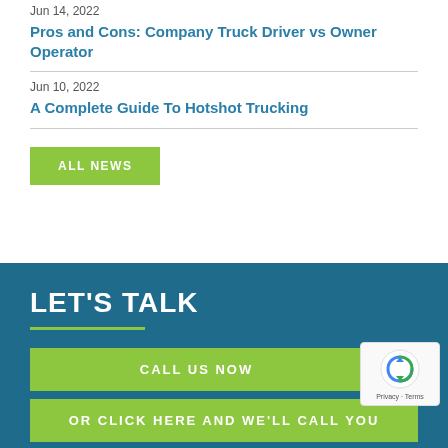Jun 14, 2022
Pros and Cons: Company Truck Driver vs Owner Operator
Jun 10, 2022
A Complete Guide To Hotshot Trucking
ALL NEWS
LET'S TALK
CALL US NOW
OR CLICK HERE AND WE'LL CALL YOU